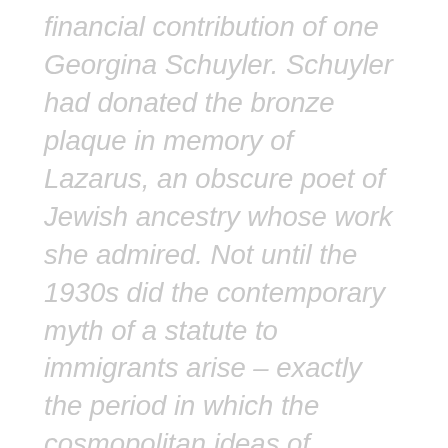financial contribution of one Georgina Schuyler. Schuyler had donated the bronze plaque in memory of Lazarus, an obscure poet of Jewish ancestry whose work she admired. Not until the 1930s did the contemporary myth of a statute to immigrants arise – exactly the period in which the cosmopolitan ideas of America's organic intellectuals were starting to